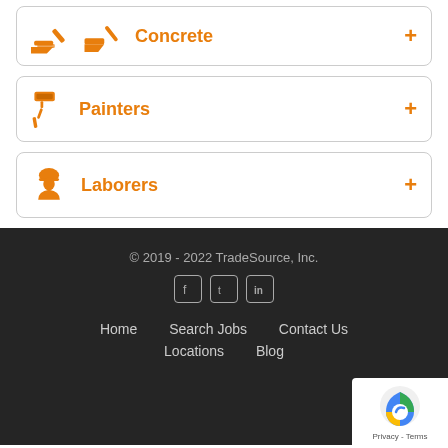Concrete
Painters
Laborers
© 2019 - 2022 TradeSource, Inc.
Home   Search Jobs   Contact Us
Locations   Blog